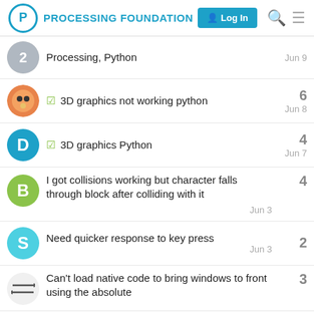PROCESSING FOUNDATION — Log In
Processing, Python — Jun 9
✓ 3D graphics not working python — 6 — Jun 8
✓ 3D graphics Python — 4 — Jun 7
I got collisions working but character falls through block after colliding with it — 4 — Jun 3
Need quicker response to key press — 2 — Jun 3
Can't load native code to bring windows to front using the absolute — 3